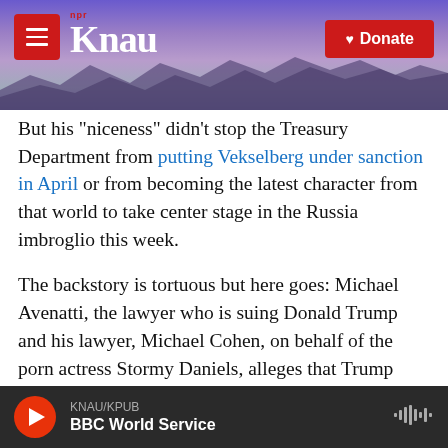[Figure (screenshot): KNAU NPR radio station website header with mountain landscape background, hamburger menu button, KNAU logo, and Donate button]
But his "niceness" didn't stop the Treasury Department from putting Vekselberg under sanction in April or from becoming the latest character from that world to take center stage in the Russia imbroglio this week.
The backstory is tortuous but here goes: Michael Avenatti, the lawyer who is suing Donald Trump and his lawyer, Michael Cohen, on behalf of the porn actress Stormy Daniels, alleges that Trump might not have reimbursed Cohen for paying Daniels to keep quiet about an alleged 2006 sexual
KNAU/KPUB
BBC World Service